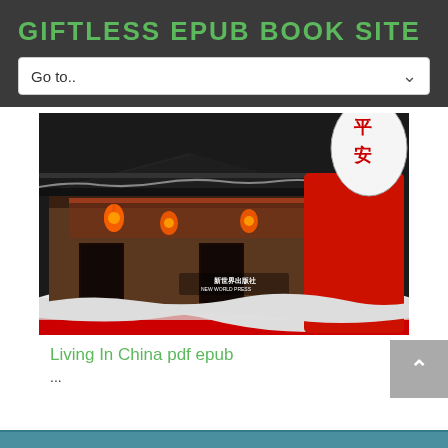GIFTLESS EPUB BOOK SITE
Go to..
[Figure (photo): Book cover image for 'Living In China' showing a traditional Chinese street scene at night with red lanterns, snow, and a decorative figure holding a large lantern with Chinese characters. Published by New World Press.]
Living In China pdf epub
...